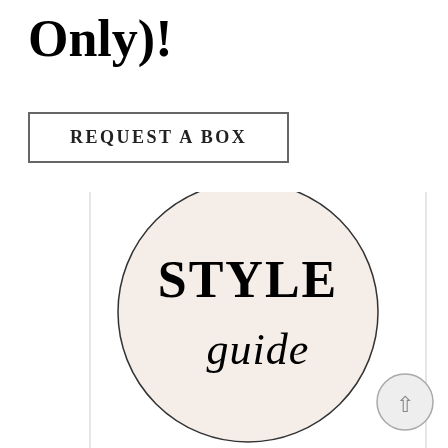Only)!
REQUEST A BOX
[Figure (logo): A circular badge with cream/off-white background containing the text 'STYLE guide' in a serif and italic script font combination]